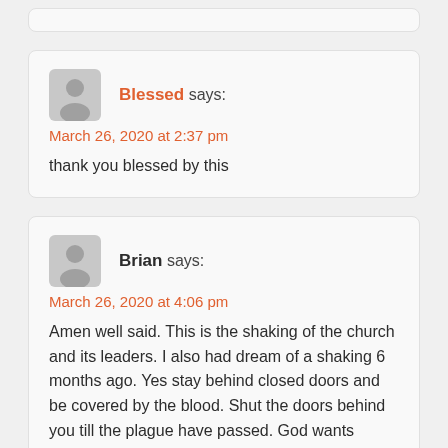[partial comment card at top]
Blessed says: March 26, 2020 at 2:37 pm — thank you blessed by this
Brian says: March 26, 2020 at 4:06 pm — Amen well said. This is the shaking of the church and its leaders. I also had dream of a shaking 6 months ago. Yes stay behind closed doors and be covered by the blood. Shut the doors behind you till the plague have passed. God wants repentance and obidience